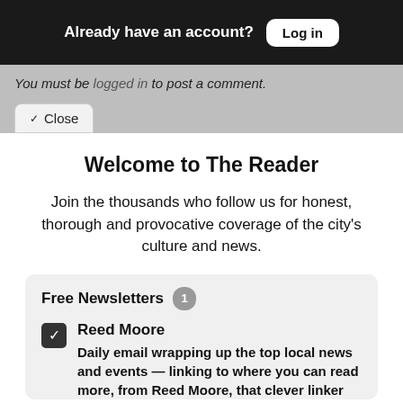Already have an account? Log in
You must be logged in to post a comment.
Close
Welcome to The Reader
Join the thousands who follow us for honest, thorough and provocative coverage of the city's culture and news.
Free Newsletters 1
Reed Moore
Daily email wrapping up the top local news and events — linking to where you can read more, from Reed Moore, that clever linker